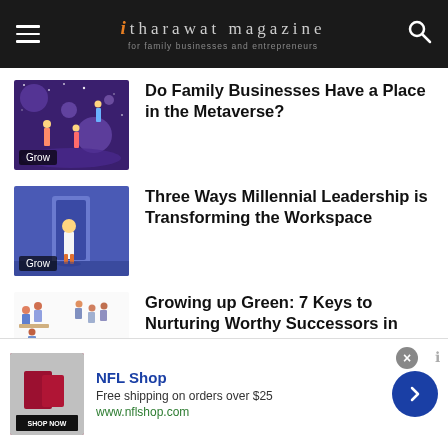itharawat magazine — for family businesses and entrepreneurs
[Figure (illustration): Illustration of people in a colorful space/metaverse scene with planets and stars, purple tones]
Do Family Businesses Have a Place in the Metaverse?
[Figure (illustration): Illustration of a person in white outfit walking toward a large blue doorway/portal on purple background]
Three Ways Millennial Leadership is Transforming the Workspace
[Figure (illustration): Illustration of multiple small groups of people in various work/collaboration scenarios on white background]
Growing up Green: 7 Keys to Nurturing Worthy Successors in Families of Wealth
[Figure (screenshot): NFL Shop advertisement banner with product image, free shipping offer, and shop now button]